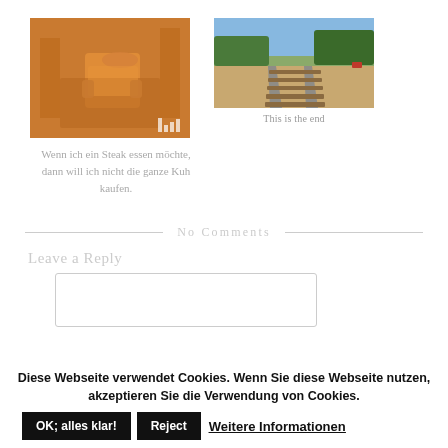[Figure (photo): Orange-tinted vintage photo of a person reading a newspaper, industrial background]
[Figure (photo): Color photo of railway tracks stretching into the distance with green trees and hills]
This is the end
Wenn ich ein Steak essen möchte, dann will ich nicht die ganze Kuh kaufen.
No Comments
Leave a Reply
Diese Webseite verwendet Cookies. Wenn Sie diese Webseite nutzen, akzeptieren Sie die Verwendung von Cookies.
OK; alles klar!   Reject   Weitere Informationen